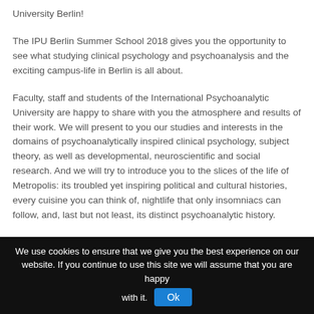University Berlin!
The IPU Berlin Summer School 2018 gives you the opportunity to see what studying clinical psychology and psychoanalysis and the exciting campus-life in Berlin is all about.
Faculty, staff and students of the International Psychoanalytic University are happy to share with you the atmosphere and results of their work. We will present to you our studies and interests in the domains of psychoanalytically inspired clinical psychology, subject theory, as well as developmental, neuroscientific and social research. And we will try to introduce you to the slices of the life of Metropolis: its troubled yet inspiring political and cultural histories, every cuisine you can think of, nightlife that only insomniacs can follow, and, last but not least, its distinct psychoanalytic history.
We use cookies to ensure that we give you the best experience on our website. If you continue to use this site we will assume that you are happy with it.